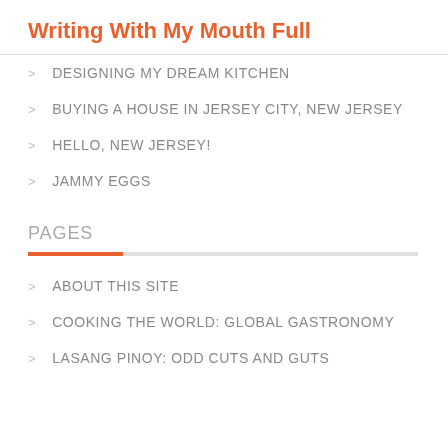Writing With My Mouth Full
DESIGNING MY DREAM KITCHEN
BUYING A HOUSE IN JERSEY CITY, NEW JERSEY
HELLO, NEW JERSEY!
JAMMY EGGS
PAGES
ABOUT THIS SITE
COOKING THE WORLD: GLOBAL GASTRONOMY
LASANG PINOY: ODD CUTS AND GUTS